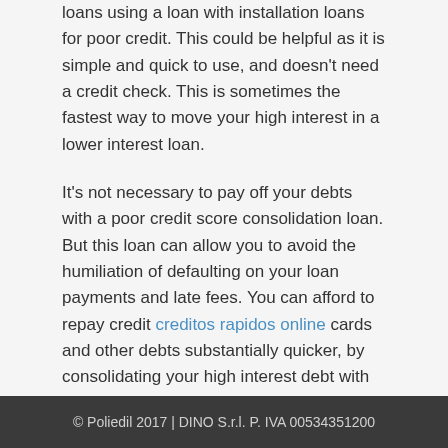loans using a loan with installation loans for poor credit. This could be helpful as it is simple and quick to use, and doesn't need a credit check. This is sometimes the fastest way to move your high interest in a lower interest loan.
It's not necessary to pay off your debts with a poor credit score consolidation loan. But this loan can allow you to avoid the humiliation of defaulting on your loan payments and late fees. You can afford to repay credit creditos rapidos online cards and other debts substantially quicker, by consolidating your high interest debt with far lower interest loan.
© Poliedil 2017 | DINO S.r.l. P. IVA 00534351200